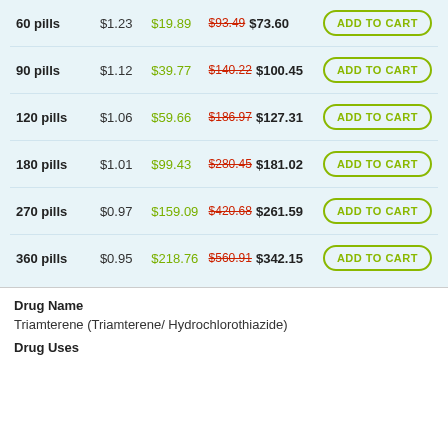| Quantity | Per Pill | Savings | Price |  |
| --- | --- | --- | --- | --- |
| 60 pills | $1.23 | $19.89 | $93.49 $73.60 | ADD TO CART |
| 90 pills | $1.12 | $39.77 | $140.22 $100.45 | ADD TO CART |
| 120 pills | $1.06 | $59.66 | $186.97 $127.31 | ADD TO CART |
| 180 pills | $1.01 | $99.43 | $280.45 $181.02 | ADD TO CART |
| 270 pills | $0.97 | $159.09 | $420.68 $261.59 | ADD TO CART |
| 360 pills | $0.95 | $218.76 | $560.91 $342.15 | ADD TO CART |
Drug Name
Triamterene (Triamterene/ Hydrochlorothiazide)
Drug Uses